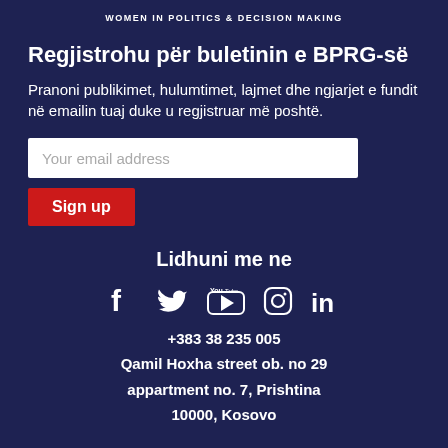WOMEN IN POLITICS & DECISION MAKING
Regjistrohu për buletinin e BPRG-së
Pranoni publikimet, hulumtimet, lajmet dhe ngjarjet e fundit në emailin tuaj duke u regjistruar më poshtë.
[Figure (other): Email input field with placeholder 'Your email address' and a red 'Sign up' button below]
Lidhuni me ne
[Figure (infographic): Social media icons: Facebook, Twitter, YouTube, Instagram, LinkedIn]
+383 38 235 005
Qamil Hoxha street ob. no 29
appartment no. 7, Prishtina
10000, Kosovo